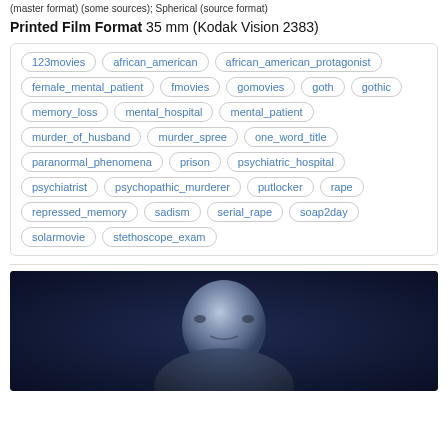(master format) (some sources); Spherical (source format)
Printed Film Format 35 mm (Kodak Vision 2383)
123movies, african_american, african_american_protagonist, female_mental_patient, fmovies, gomovies, goth, gothic, memory_loss, mental_hospital, mental_patient, murder_of_husband, murder_spree, one_word_title, paranormal_phenomena, prison, psychiatric_hospital, psychiatrist, psychopathic_murderer, putlocker, rape, repressed_memory, sadism, serial_rape, soap2day, solarmovie, stethoscope_exam
[Figure (photo): Dark blue-toned photo of a person's face/head partially visible, low lighting]